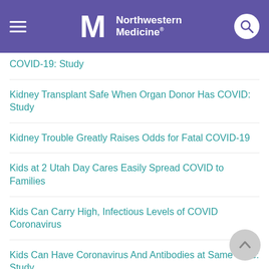Northwestern Medicine
COVID-19: Study
Kidney Transplant Safe When Organ Donor Has COVID: Study
Kidney Trouble Greatly Raises Odds for Fatal COVID-19
Kids at 2 Utah Day Cares Easily Spread COVID to Families
Kids Can Carry High, Infectious Levels of COVID Coronavirus
Kids Can Have Coronavirus And Antibodies at Same Time: Study
Kids 'Efficient' Transmitters as COVID-19 Raced Through a Georgia Summer Camp
Kids' ER Visits for Mental Health Problems